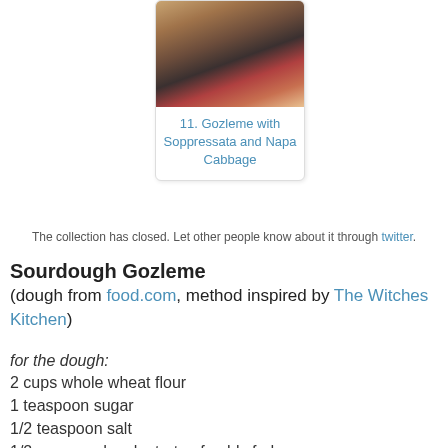[Figure (photo): Photo of Gozleme with Soppressata and Napa Cabbage — grilled flatbread with visible fillings including dark vegetables and red peppers]
11. Gozleme with Soppressata and Napa Cabbage
The collection has closed. Let other people know about it through twitter.
Sourdough Gozleme
(dough from food.com, method inspired by The Witches Kitchen)
for the dough:
2 cups whole wheat flour
1 teaspoon sugar
1/2 teaspoon salt
1/2 cup sourdough starter, freshly fed